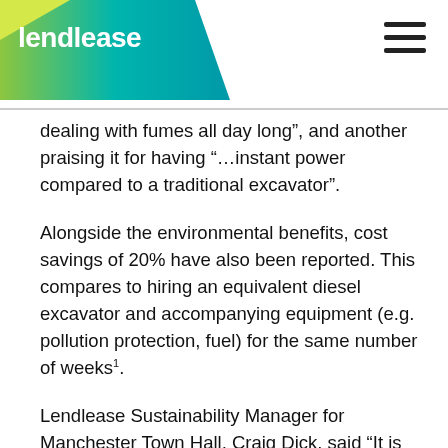lendlease
dealing with fumes all day long”, and another praising it for having “…instant power compared to a traditional excavator”.
Alongside the environmental benefits, cost savings of 20% have also been reported. This compares to hiring an equivalent diesel excavator and accompanying equipment (e.g. pollution protection, fuel) for the same number of weeks¹.
Lendlease Sustainability Manager for Manchester Town Hall, Craig Dick, said “It is important to demonstrate to our supply chain that 1t electric excavators are a viable alternative to similar sized